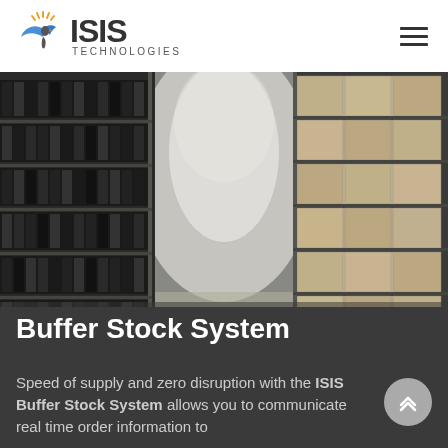ISIS Technologies
[Figure (photo): Interior of a warehouse with tall metal shelving racks filled with black binders/folders on the left and stacked cardboard boxes on the right, with a bright corridor in the center.]
Buffer Stock System
Speed of supply and zero disruption with the ISIS Buffer Stock System allows you to communicate real time order information to